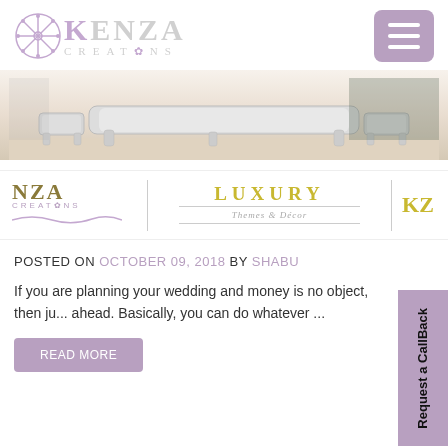KENZA CREATIONS
[Figure (photo): A white ornate bench/furniture piece in a luxurious room setting with light beige tones]
[Figure (logo): NZA Creations logo on the left, LUXURY Themes & Decor banner in center, KZ logo on right]
POSTED ON OCTOBER 09, 2018 BY SHABU
If you are planning your wedding and money is no object, then ju... ahead. Basically, you can do whatever ...